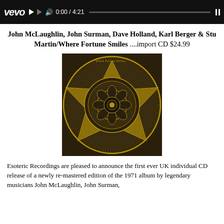[Figure (screenshot): Video player bar with Vevo logo, playback controls, and time display 0:00 / 4:21]
John McLaughlin, John Surman, Dave Holland, Karl Berger & Stu Martin/Where Fortune Smiles ....import CD $24.99
[Figure (illustration): Album cover artwork for Where Fortune Smiles — a circular mandala design with a seven-pointed star pattern and a rose/flower motif in the center, rendered in gold/yellow on dark brown background]
Esoteric Recordings are pleased to announce the first ever UK individual CD release of a newly re-mastered edition of the 1971 album by legendary musicians John McLaughlin, John Surman,